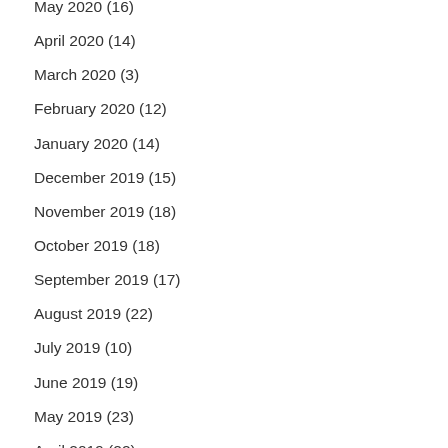May 2020 (16)
April 2020 (14)
March 2020 (3)
February 2020 (12)
January 2020 (14)
December 2019 (15)
November 2019 (18)
October 2019 (18)
September 2019 (17)
August 2019 (22)
July 2019 (10)
June 2019 (19)
May 2019 (23)
April 2019 (22)
March 2019 (21)